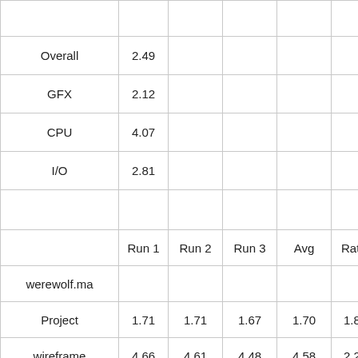|  | Run 1 | Run 2 | Run 3 | Avg | Ratio |
| --- | --- | --- | --- | --- | --- |
| Overall | 2.49 |  |  |  |  |
| GFX | 2.12 |  |  |  |  |
| CPU | 4.07 |  |  |  |  |
| I/O | 2.81 |  |  |  |  |
|  |  |  |  |  |  |
|  | Run 1 | Run 2 | Run 3 | Avg | Ratio |
| werewolf.ma |  |  |  |  |  |
| Project | 1.71 | 1.71 | 1.67 | 1.70 | 1.88 |
| wireframe | 4.66 | 4.61 | 4.48 | 4.58 | 2.26 |
| wireframeHQ | 2.32 | 2.36 | 2.27 | 2.32 | 2.54 |
| smoothShaded | 5.20 | 5.60 | 5.22 | 5.34 | 2.79 |